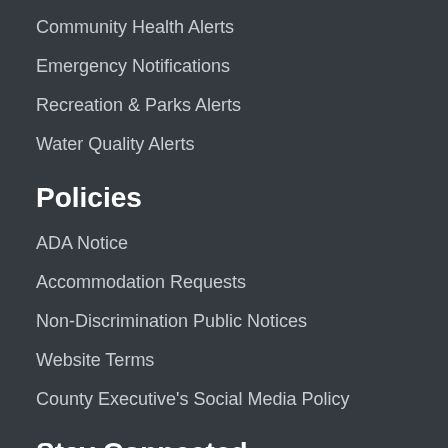Community Health Alerts
Emergency Notifications
Recreation & Parks Alerts
Water Quality Alerts
Policies
ADA Notice
Accommodation Requests
Non-Discrimination Public Notices
Website Terms
County Executive's Social Media Policy
Stay Connected
[Figure (screenshot): Tweets from @AACountyGovt with a Follow button, white card on dark background]